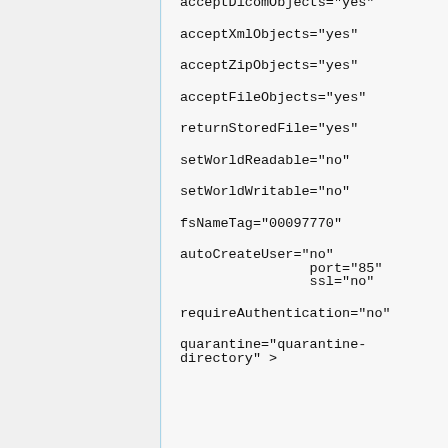acceptDicomObjects="yes"
acceptXmlObjects="yes"
acceptZipObjects="yes"
acceptFileObjects="yes"
returnStoredFile="yes"
setWorldReadable="no"
setWorldWritable="no"
fsNameTag="00097770"
autoCreateUser="no"
                port="85"
                ssl="no"
requireAuthentication="no"
quarantine="quarantine-directory" >